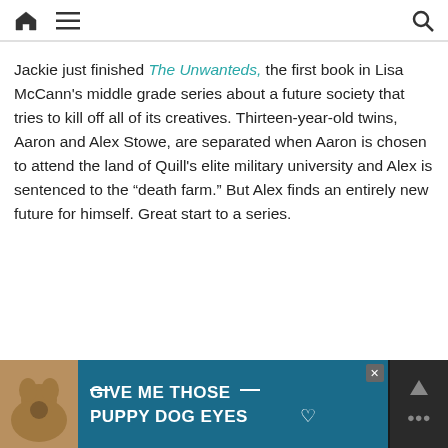Home menu search icons
Jackie just finished The Unwanteds, the first book in Lisa McCann's middle grade series about a future society that tries to kill off all of its creatives. Thirteen-year-old twins, Aaron and Alex Stowe, are separated when Aaron is chosen to attend the land of Quill's elite military university and Alex is sentenced to the “death farm.” But Alex finds an entirely new future for himself. Great start to a series.
[Figure (other): Advertisement banner: dog image with text 'GIVE ME THOSE PUPPY DOG EYES' on dark teal background with close button]